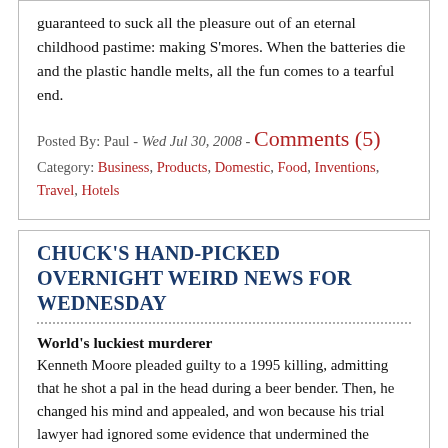guaranteed to suck all the pleasure out of an eternal childhood pastime: making S'mores. When the batteries die and the plastic handle melts, all the fun comes to a tearful end.
Posted By: Paul - Wed Jul 30, 2008 - Comments (5)
Category: Business, Products, Domestic, Food, Inventions, Travel, Hotels
Chuck's Hand-Picked Overnight Weird News for Wednesday
World's luckiest murderer
Kenneth Moore pleaded guilty to a 1995 killing, admitting that he shot a pal in the head during a beer bender. Then, he changed his mind and appealed, and won because his trial lawyer had ignored some evidence that undermined the prosecution's proof. At a subsequent trial, the prosecutor